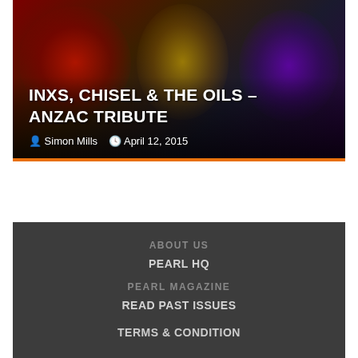[Figure (photo): Concert photo showing three performers on stage with dramatic lighting — red lighting on left performer, golden/amber center, purple right. Dark background.]
INXS, CHISEL & THE OILS – ANZAC TRIBUTE
Simon Mills   April 12, 2015
ABOUT US
PEARL HQ
PEARL MAGAZINE
READ PAST ISSUES
TERMS & CONDITION